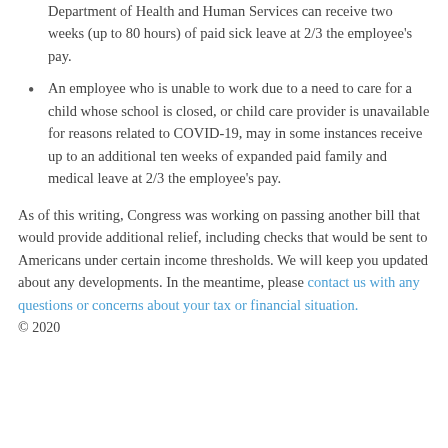Department of Health and Human Services can receive two weeks (up to 80 hours) of paid sick leave at 2/3 the employee's pay.
An employee who is unable to work due to a need to care for a child whose school is closed, or child care provider is unavailable for reasons related to COVID-19, may in some instances receive up to an additional ten weeks of expanded paid family and medical leave at 2/3 the employee's pay.
As of this writing, Congress was working on passing another bill that would provide additional relief, including checks that would be sent to Americans under certain income thresholds. We will keep you updated about any developments. In the meantime, please contact us with any questions or concerns about your tax or financial situation.
© 2020